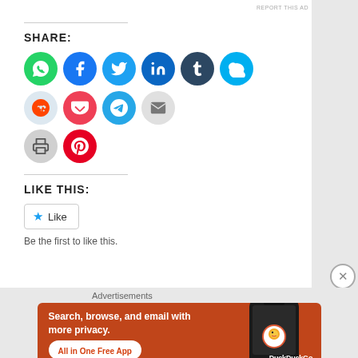REPORT THIS AD
SHARE:
[Figure (infographic): Row of social media share icon circles: WhatsApp (green), Facebook (blue), Twitter (light blue), LinkedIn (dark blue), Tumblr (dark navy), Skype (cyan), Reddit (light blue-grey), Pocket (red), Telegram (blue), Email (grey), Print (grey), Pinterest (red)]
LIKE THIS:
[Figure (other): Like button with blue star icon and 'Like' text]
Be the first to like this.
Advertisements
[Figure (infographic): DuckDuckGo advertisement banner on orange/rust background showing smartphone. Text: 'Search, browse, and email with more privacy. All in One Free App'. DuckDuckGo logo visible on phone.]